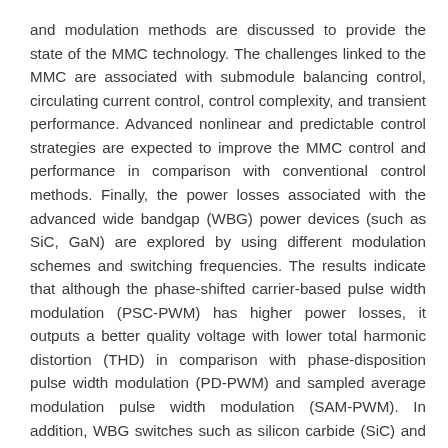and modulation methods are discussed to provide the state of the MMC technology. The challenges linked to the MMC are associated with submodule balancing control, circulating current control, control complexity, and transient performance. Advanced nonlinear and predictable control strategies are expected to improve the MMC control and performance in comparison with conventional control methods. Finally, the power losses associated with the advanced wide bandgap (WBG) power devices (such as SiC, GaN) are explored by using different modulation schemes and switching frequencies. The results indicate that although the phase-shifted carrier-based pulse width modulation (PSC-PWM) has higher power losses, it outputs a better quality voltage with lower total harmonic distortion (THD) in comparison with phase-disposition pulse width modulation (PD-PWM) and sampled average modulation pulse width modulation (SAM-PWM). In addition, WBG switches such as silicon carbide (SiC) and gallium nitride (GaN) devices have lower power losses and higher efficiency, especially at high switching frequency in the MMC applications.